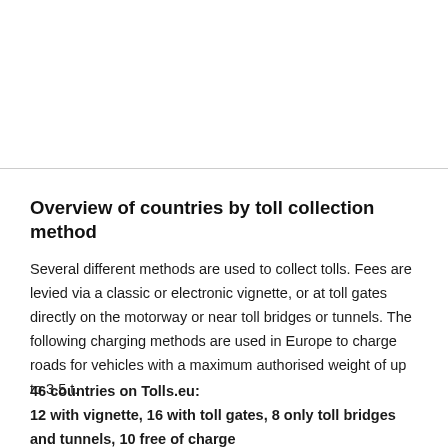Overview of countries by toll collection method
Several different methods are used to collect tolls. Fees are levied via a classic or electronic vignette, or at toll gates directly on the motorway or near toll bridges or tunnels. The following charging methods are used in Europe to charge roads for vehicles with a maximum authorised weight of up to 3.5 t.
46 countries on Tolls.eu:
12 with vignette, 16 with toll gates, 8 only toll bridges and tunnels, 10 free of charge